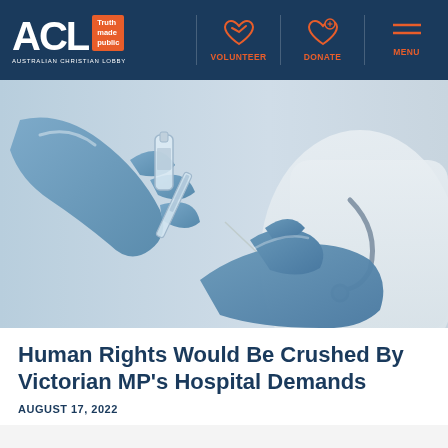ACL - Australian Christian Lobby | VOLUNTEER | DONATE | MENU
[Figure (photo): Close-up photo of gloved hands (blue medical gloves) drawing vaccine into a syringe from a vial; a person in a white lab coat with a stethoscope is visible in the background.]
Human Rights Would Be Crushed By Victorian MP's Hospital Demands
AUGUST 17, 2022